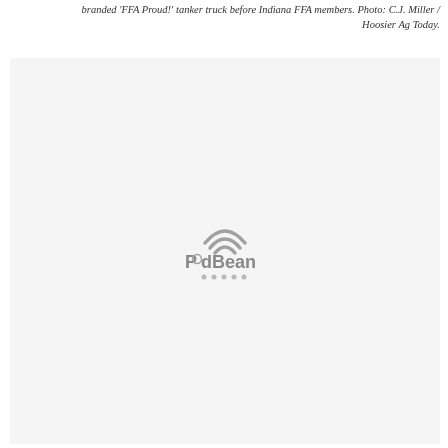branded 'FFA Proud!' tanker truck before Indiana FFA members. Photo: C.J. Miller / Hoosier Ag Today.
[Figure (screenshot): A light gray media player embed placeholder with the PodBean logo (WiFi-like arc icon and 'PodBean' text) centered in the box, with a row of small dots beneath suggesting a loading state.]